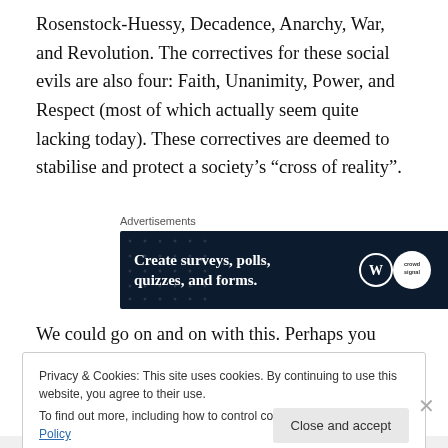Rosenstock-Huessy, Decadence, Anarchy, War, and Revolution. The correctives for these social evils are also four: Faith, Unanimity, Power, and Respect (most of which actually seem quite lacking today). These correctives are deemed to stabilise and protect a society's “cross of reality”.
Advertisements
[Figure (screenshot): Advertisement banner with dark navy background showing 'Create surveys, polls, quizzes, and forms.' with WordPress and Crowdsignal logos]
We could go on and on with this. Perhaps you yourselves
Privacy & Cookies: This site uses cookies. By continuing to use this website, you agree to their use.
To find out more, including how to control cookies, see here: Cookie Policy